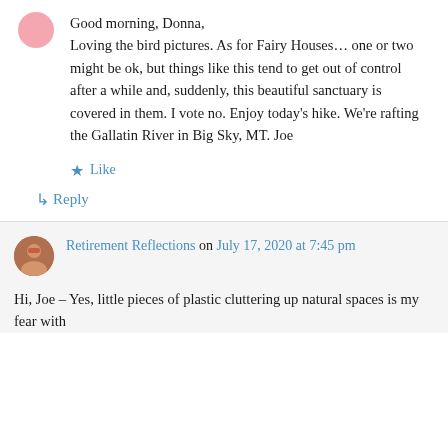Good morning, Donna,
Loving the bird pictures. As for Fairy Houses… one or two might be ok, but things like this tend to get out of control after a while and, suddenly, this beautiful sanctuary is covered in them. I vote no. Enjoy today's hike. We're rafting the Gallatin River in Big Sky, MT. Joe
★ Like
↳ Reply
Retirement Reflections on July 17, 2020 at 7:45 pm
Hi, Joe – Yes, little pieces of plastic cluttering up natural spaces is my fear with